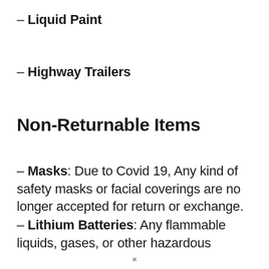– Liquid Paint
– Highway Trailers
Non-Returnable Items
– Masks: Due to Covid 19, Any kind of safety masks or facial coverings are no longer accepted for return or exchange.
– Lithium Batteries: Any flammable liquids, gases, or other hazardous